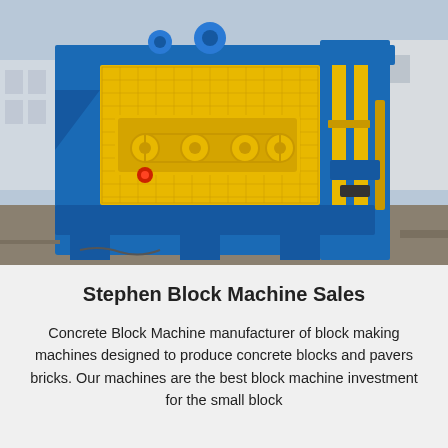[Figure (photo): A large industrial concrete block making machine with blue steel frame and yellow machinery components including a mesh-covered drive section, hydraulic cylinders on the right side, and a robust base frame. The machine is photographed outdoors in front of industrial buildings.]
Stephen Block Machine Sales
Concrete Block Machine manufacturer of block making machines designed to produce concrete blocks and pavers bricks. Our machines are the best block machine investment for the small block manufacturers with limited financial resources and...